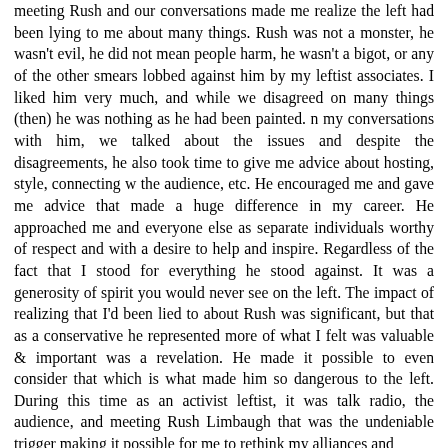meeting Rush and our conversations made me realize the left had been lying to me about many things. Rush was not a monster, he wasn't evil, he did not mean people harm, he wasn't a bigot, or any of the other smears lobbed against him by my leftist associates. I liked him very much, and while we disagreed on many things (then) he was nothing as he had been painted. n my conversations with him, we talked about the issues and despite the disagreements, he also took time to give me advice about hosting, style, connecting w the audience, etc. He encouraged me and gave me advice that made a huge difference in my career. He approached me and everyone else as separate individuals worthy of respect and with a desire to help and inspire. Regardless of the fact that I stood for everything he stood against. It was a generosity of spirit you would never see on the left. The impact of realizing that I'd been lied to about Rush was significant, but that as a conservative he represented more of what I felt was valuable & important was a revelation. He made it possible to even consider that which is what made him so dangerous to the left. During this time as an activist leftist, it was talk radio, the audience, and meeting Rush Limbaugh that was the undeniable trigger making it possible for me to rethink my alliances and